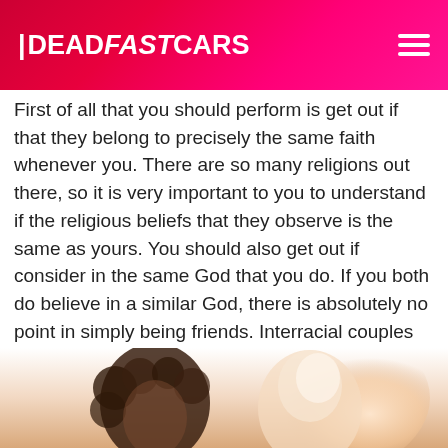DEADFASTCARS
First of all that you should perform is get out if that they belong to precisely the same faith whenever you. There are so many religions out there, so it is very important to you to understand if the religious beliefs that they observe is the same as yours. You should also get out if consider in the same God that you do. If you both do believe in a similar God, there is absolutely no point in simply being friends. Interracial couples can be quite compatible only if they have the same philosophy and hopes.
[Figure (photo): Partial view of two people, one with curly dark hair on the left and a lighter glowing figure on the right, photographed from below chin level]